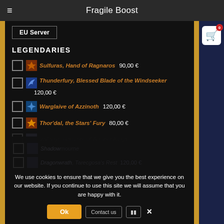Fragile Boost
EU Server
LEGENDARIES
Sulfuras, Hand of Ragnaros  90,00 €
Thunderfury, Blessed Blade of the Windseeker  120,00 €
Warglaive of Azzinoth  120,00 €
Thor'dal, the Stars' Fury  80,00 €
Val'anyr, Hammer of Ancient Kings
Shadowmourne
Dragonwrath, Tarecgosa's Rest  120,00 €
We use cookies to ensure that we give you the best experience on our website. If you continue to use this site we will assume that you are happy with it.
Ok
Contact us